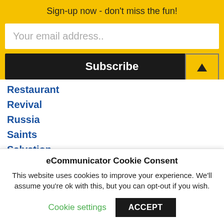Sign-up now - don't miss the fun!
Your email address..
Subscribe
Restaurant
Revival
Russia
Saints
Salvation
Science
Self-help
Seminary
eCommunicator Cookie Consent
This website uses cookies to improve your experience. We'll assume you're ok with this, but you can opt-out if you wish.
Cookie settings
ACCEPT